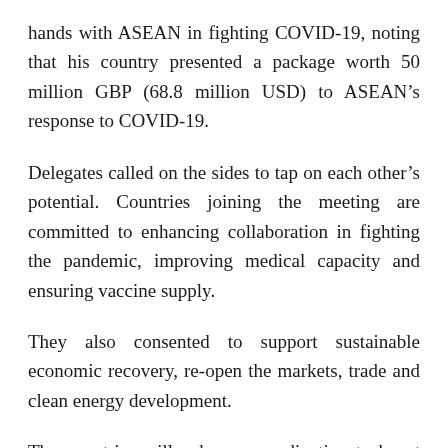hands with ASEAN in fighting COVID-19, noting that his country presented a package worth 50 million GBP (68.8 million USD) to ASEAN’s response to COVID-19.
Delegates called on the sides to tap on each other’s potential. Countries joining the meeting are committed to enhancing collaboration in fighting the pandemic, improving medical capacity and ensuring vaccine supply.
They also consented to support sustainable economic recovery, re-open the markets, trade and clean energy development.
The countries will enhance coordination to boost the initiative with ASEAN and its partners for the 26th UN